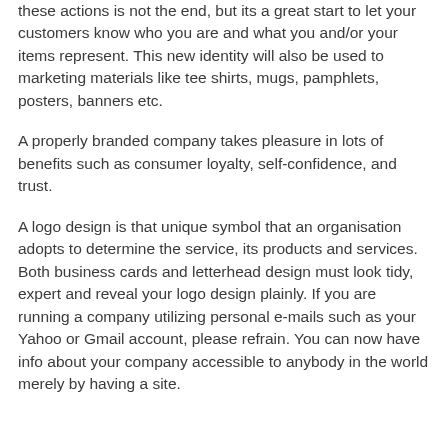these actions is not the end, but its a great start to let your customers know who you are and what you and/or your items represent. This new identity will also be used to marketing materials like tee shirts, mugs, pamphlets, posters, banners etc.
A properly branded company takes pleasure in lots of benefits such as consumer loyalty, self-confidence, and trust.
A logo design is that unique symbol that an organisation adopts to determine the service, its products and services. Both business cards and letterhead design must look tidy, expert and reveal your logo design plainly. If you are running a company utilizing personal e-mails such as your Yahoo or Gmail account, please refrain. You can now have info about your company accessible to anybody in the world merely by having a site.